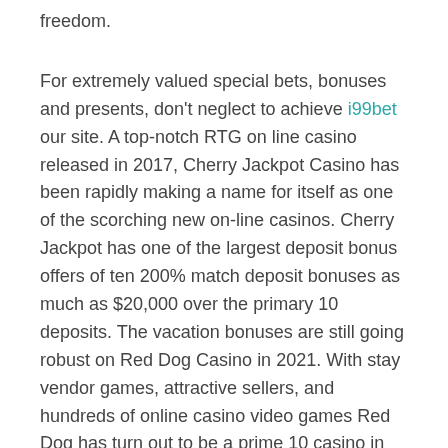freedom.
For extremely valued special bets, bonuses and presents, don't neglect to achieve i99bet our site. A top-notch RTG on line casino released in 2017, Cherry Jackpot Casino has been rapidly making a name for itself as one of the scorching new on-line casinos. Cherry Jackpot has one of the largest deposit bonus offers of ten 200% match deposit bonuses as much as $20,000 over the primary 10 deposits. The vacation bonuses are still going robust on Red Dog Casino in 2021. With stay vendor games, attractive sellers, and hundreds of online casino video games Red Dog has turn out to be a prime 10 casino in less than two years time. This does in fact mean that you are by no means going to need to make any kind of comprise when you are putting any bets and wagers online.